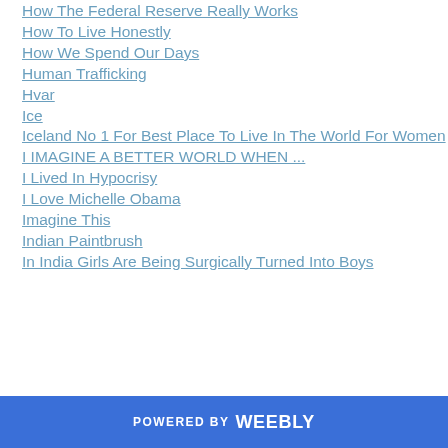How The Federal Reserve Really Works
How To Live Honestly
How We Spend Our Days
Human Trafficking
Hvar
Ice
Iceland No 1 For Best Place To Live In The World For Women
I IMAGINE A BETTER WORLD WHEN ...
I Lived In Hypocrisy
I Love Michelle Obama
Imagine This
Indian Paintbrush
In India Girls Are Being Surgically Turned Into Boys
POWERED BY weebly